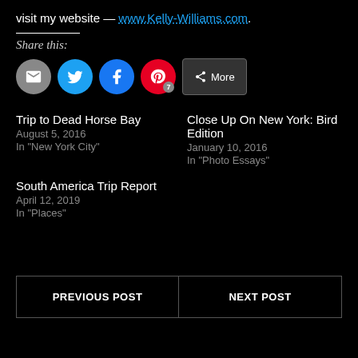visit my website — www.Kelly-Williams.com.
Share this:
[Figure (infographic): Social share buttons: Email (grey circle), Twitter (blue circle), Facebook (blue circle), Pinterest (red circle with badge 7), More button]
Trip to Dead Horse Bay
August 5, 2016
In "New York City"
Close Up On New York: Bird Edition
January 10, 2016
In "Photo Essays"
South America Trip Report
April 12, 2019
In "Places"
PREVIOUS POST
NEXT POST